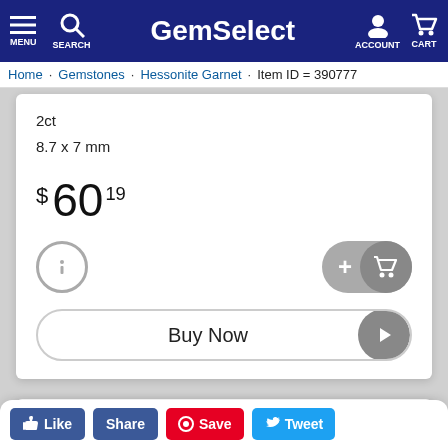GemSelect — MENU | SEARCH | ACCOUNT | CART
Home  Gemstones  Hessonite Garnet  Item ID = 390777
2ct
8.7 x 7 mm
$ 60 .19
[Figure (screenshot): Info button (circle with i), Add to cart button (plus sign + shopping cart icon)]
[Figure (screenshot): Buy Now button with play arrow icon]
[Figure (photo): Gray placeholder image area]
Like  Share  Save  Tweet